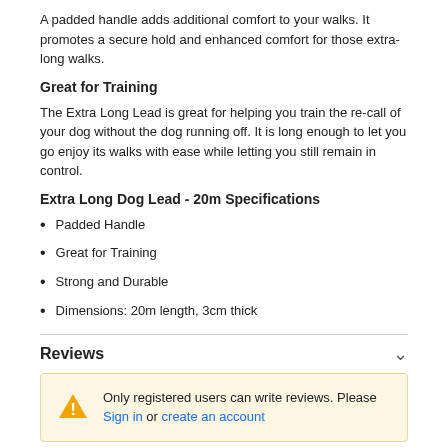A padded handle adds additional comfort to your walks. It promotes a secure hold and enhanced comfort for those extra-long walks.
Great for Training
The Extra Long Lead is great for helping you train the re-call of your dog without the dog running off. It is long enough to let you go enjoy its walks with ease while letting you still remain in control.
Extra Long Dog Lead - 20m Specifications
Padded Handle
Great for Training
Strong and Durable
Dimensions: 20m length, 3cm thick
Reviews
Only registered users can write reviews. Please Sign in or create an account